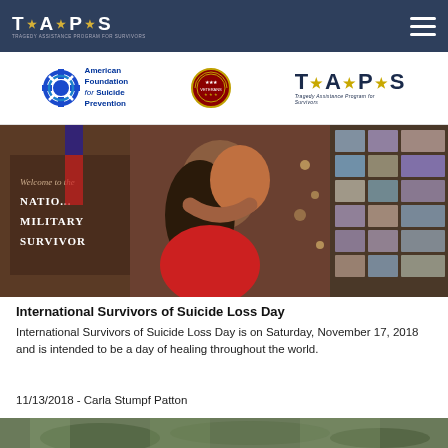T★A★P★S — navigation bar with TAPS logo and hamburger menu
[Figure (photo): Partner logos banner showing American Foundation for Suicide Prevention logo (blue circle with white lifebuoy), a military/veteran emblem badge, and TAPS (Tragedy Assistance Program for Survivors) logo]
[Figure (photo): Two people hugging at what appears to be a National Military Survivor event, with a banner visible in background and a photo collage on the right side]
International Survivors of Suicide Loss Day
International Survivors of Suicide Loss Day is on Saturday, November 17, 2018 and is intended to be a day of healing throughout the world.
11/13/2018 - Carla Stumpf Patton
[Figure (photo): Partial view of another photo at the bottom of the page, appears to show people outdoors in a green setting]